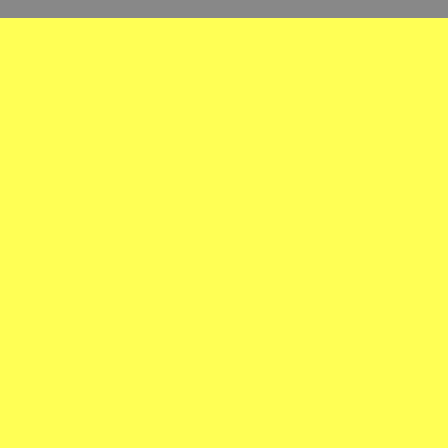[Figure (other): Yellow rectangular block on left side of page, with gray header bar at top]
| Title |
| --- |
| The Bootleg Series Vol. 7: No Direction Home (So... |
| Modern Times |
| Dylan [2007] |
| The Essential |
| The Bootleg Series Vol. 8: Tell Tale Signs - Rare A... |
| Together Through Life |
| Christmas In The Heart |
| The Bootleg Series Vol. 9: The Witmark Demos - ... |
| Tempest |
| Another Self Portrait (1969-1971) - The Bootleg S... |
| The Bootleg Series Vol. 11: The Basement Tapes ... |
| The Bootleg Series Vol. 11: The Basement Tapes ... Band) |
| Shadows In The Night |
| The Bootleg Series Vol. 12 - 1965-1966: The Bes... |
| Fallen Angels |
| The Real Royal Albert Hall 1966 Concert! |
| Triplicate |
| The Bootleg Series Vol. 13 / 1979-1981 - Trouble ... |
| Live 1962-1966 - Rare Performances From The C... |
| The Bootleg Series Vol. 14 - More Blood, More Tr... |
| The Bootleg Series Vol. 15 1967-1969 - Travelin' T... |
| Rough And Rowdy Ways |
| 1979... |